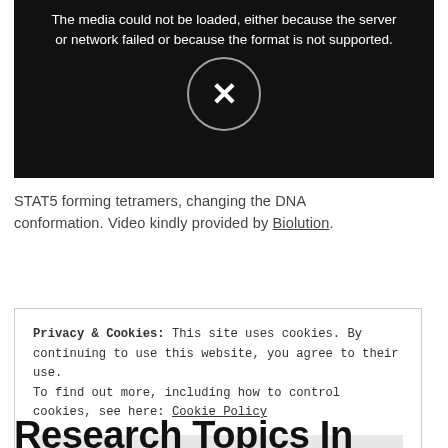[Figure (other): Video placeholder showing media load error with dark background and teal/gold molecular imagery. Error message: 'The media could not be loaded, either because the server or network failed or because the format is not supported.' with X icon circle.]
STAT5 forming tetramers, changing the DNA conformation. Video kindly provided by Biolution.
Privacy & Cookies: This site uses cookies. By continuing to use this website, you agree to their use.
To find out more, including how to control cookies, see here: Cookie Policy
Research Topics In